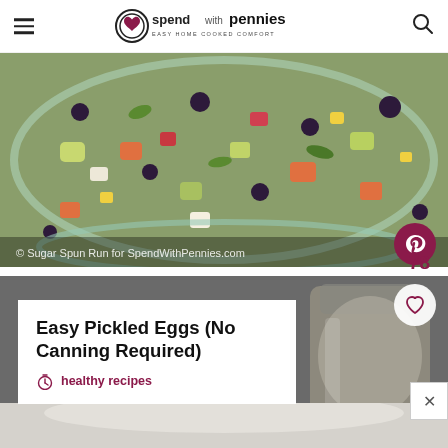spend with pennies — EASY HOME COOKED COMFORT
[Figure (photo): Colorful chopped salad with black beans, corn, tomatoes, avocado, and other vegetables in a glass bowl. Watermark: © Sugar Spun Run for SpendWithPennies.com]
78
[Figure (photo): Easy Pickled Eggs (No Canning Required) recipe card overlay on a photo of a mason jar. Category: healthy recipes. Close button visible.]